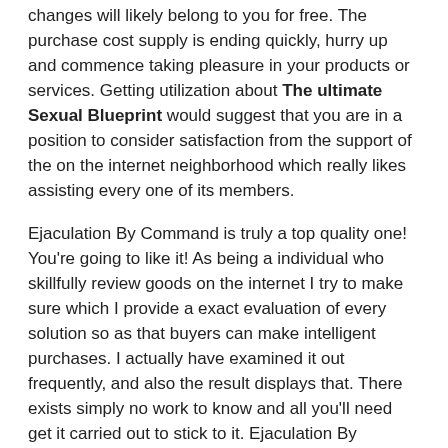changes will likely belong to you for free. The purchase cost supply is ending quickly, hurry up and commence taking pleasure in your products or services. Getting utilization about The ultimate Sexual Blueprint would suggest that you are in a position to consider satisfaction from the support of the on the internet neighborhood which really likes assisting every one of its members.
Ejaculation By Command is truly a top quality one! You're going to like it! As being a individual who skillfully review goods on the internet I try to make sure which I provide a exact evaluation of every solution so as that buyers can make intelligent purchases. I actually have examined it out frequently, and also the result displays that. There exists simply no work to know and all you'll need get it carried out to stick to it. Ejaculation By Command is actually a risk free opportunity with the money-back guarantee!